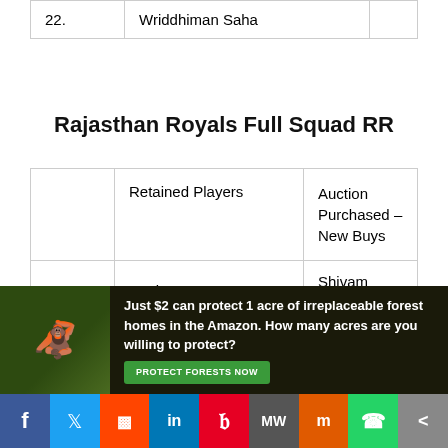|  |  |  |
| --- | --- | --- |
| 22. | Wriddhiman Saha |  |
Rajasthan Royals Full Squad RR
|  | Retained Players | Auction Purchased – New Buys |
| --- | --- | --- |
| 1. | Sanju samsen | Shivam Dubey |
| 2. | Andrew Tye | Chris Morris |
| 3. | Anuj Rawat | Mustafizur Rahman |
| 4. | Ben Stokes | Chetan Sakariya |
[Figure (other): Advertisement banner: Just $2 can protect 1 acre of irreplaceable forest homes in the Amazon. How many acres are you willing to protect? PROTECT FORESTS NOW]
[Figure (other): Social media share bar with icons: Facebook, Twitter, Reddit, LinkedIn, Pinterest, MixedWeekly, Mix, WhatsApp, Share]